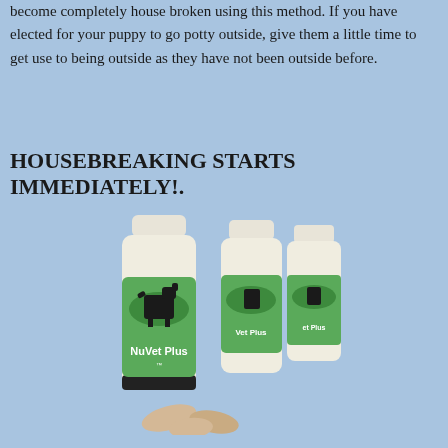become completely house broken using this method. If you have elected for your puppy to go potty outside, give them a little time to get use to being outside as they have not been outside before.
HOUSEBREAKING STARTS IMMEDIATELY!.
[Figure (photo): Three NuVet Plus supplement bottles with green labels featuring a dog silhouette, arranged in a staggered row, with several tan/beige supplement tablets/wafers scattered in front.]